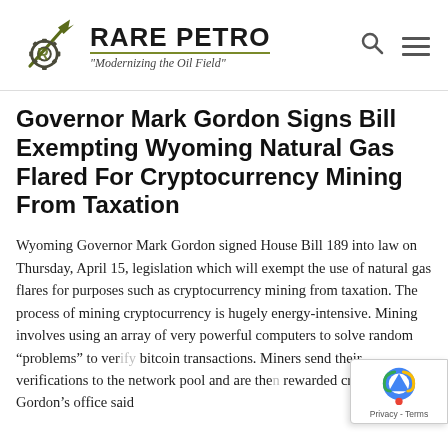[Figure (logo): Rare Petro logo with pick-axe and gear wheel graphic, bold text 'RARE PETRO', olive underline, italic tagline 'Modernizing the Oil Field']
Governor Mark Gordon Signs Bill Exempting Wyoming Natural Gas Flared For Cryptocurrency Mining From Taxation
Wyoming Governor Mark Gordon signed House Bill 189 into law on Thursday, April 15, legislation which will exempt the use of natural gas flares for purposes such as cryptocurrency mining from taxation. The process of mining cryptocurrency is hugely energy-intensive. Mining involves using an array of very powerful computers to solve random “problems” to verify bitcoin transactions. Miners send their verifications to the network pool and are then rewarded cryptocurrency. Gordon’s office said